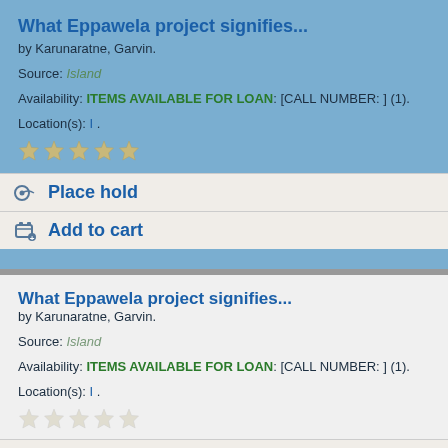What Eppawela project signifies...
by Karunaratne, Garvin.
Source: Island
Availability: ITEMS AVAILABLE FOR LOAN: [CALL NUMBER: ] (1).
Location(s): I .
Place hold
Add to cart
What Eppawela project signifies...
by Karunaratne, Garvin.
Source: Island
Availability: ITEMS AVAILABLE FOR LOAN: [CALL NUMBER: ] (1).
Location(s): I .
Place hold